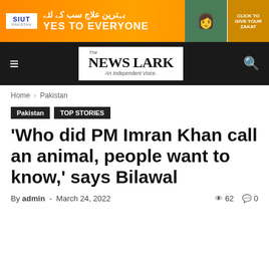[Figure (other): SIUT Pakistan advertisement banner with orange background, Urdu text, and 'CLICK TO GIVE YOUR ZAKAT' button, with YES TO EVERYONE text]
The NEWS LARK — An Independent Voice.
Home › Pakistan
Pakistan  TOP STORIES
'Who did PM Imran Khan call an animal, people want to know,' says Bilawal
By admin - March 24, 2022  62  0